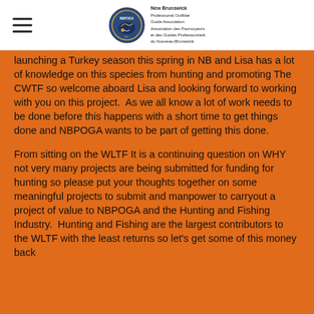New Brunswick Professional Outfitter Guide Association / Association des Pourvoyeurs et des Guides Professionnels du Nouveau-Brunswick
launching a Turkey season this spring in NB and Lisa has a lot of knowledge on this species from hunting and promoting The CWTF so welcome aboard Lisa and looking forward to working with you on this project.  As we all know a lot of work needs to be done before this happens with a short time to get things done and NBPOGA wants to be part of getting this done.
From sitting on the WLTF It is a continuing question on WHY not very many projects are being submitted for funding for hunting so please put your thoughts together on some meaningful projects to submit and manpower to carryout a project of value to NBPOGA and the Hunting and Fishing Industry.  Hunting and Fishing are the largest contributors to the WLTF with the least returns so let's get some of this money back